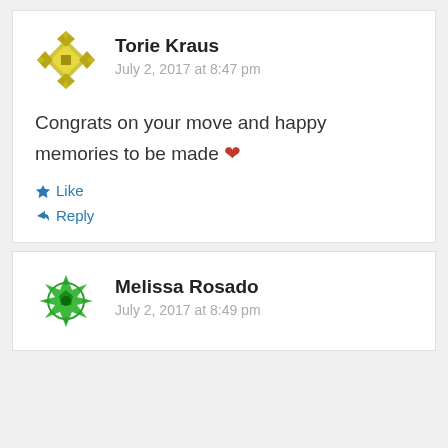Torie Kraus
July 2, 2017 at 8:47 pm
Congrats on your move and happy memories to be made ❤
Like
Reply
Melissa Rosado
July 2, 2017 at 8:49 pm